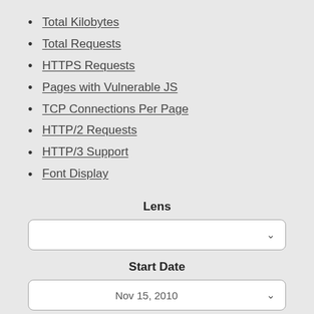Total Kilobytes
Total Requests
HTTPS Requests
Pages with Vulnerable JS
TCP Connections Per Page
HTTP/2 Requests
HTTP/3 Support
Font Display
Lens
Start Date
Nov 15, 2010
End Date